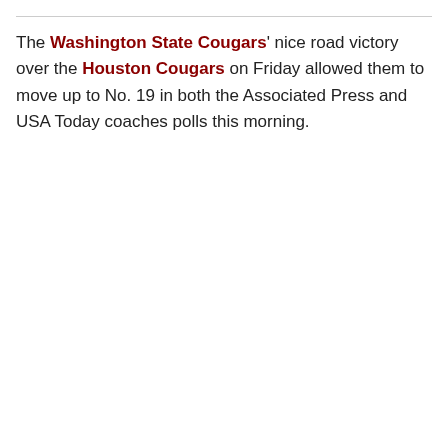The Washington State Cougars' nice road victory over the Houston Cougars on Friday allowed them to move up to No. 19 in both the Associated Press and USA Today coaches polls this morning.